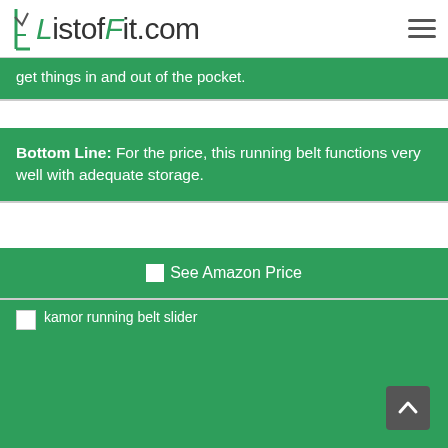ListofFit.com
get things in and out of the pocket.
Bottom Line: For the price, this running belt functions very well with adequate storage.
See Amazon Price
[Figure (photo): kamor running belt slider image placeholder]